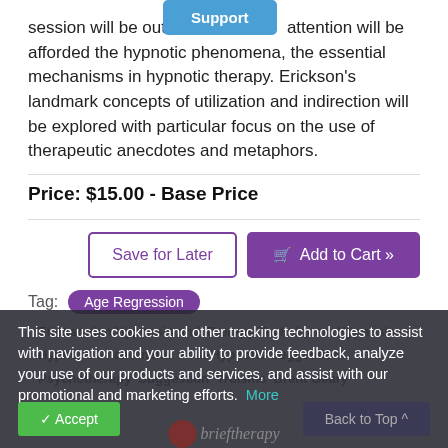session will be outlined. attention will be afforded the hypnotic phenomena, the essential mechanisms in hypnotic therapy. Erickson's landmark concepts of utilization and indirection will be explored with particular focus on the use of therapeutic anecdotes and metaphors.
Price: $15.00 - Base Price
Save for Later
Add to Cart »
Tag: Age Regression
Ericksonian Hypnosis and Therapy Techniques  Hypnosis  Hypnotic Phenomena  Post-Hypnotic Suggestion  Psychotherapy  Suggestion  Truisms  Brent Geary
This site uses cookies and other tracking technologies to assist with navigation and your ability to provide feedback, analyze your use of our products and services, and assist with our promotional and marketing efforts.  More Information
Accept
Back to Top